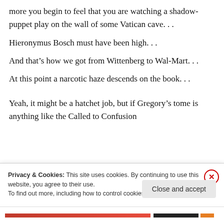more you begin to feel that you are watching a shadow-puppet play on the wall of some Vatican cave. . .
Hieronymus Bosch must have been high. . .
And that’s how we got from Wittenberg to Wal-Mart. . .
At this point a narcotic haze descends on the book. . .
Yeah, it might be a hatchet job, but if Gregory’s tome is anything like the Called to Confusion
Privacy & Cookies: This site uses cookies. By continuing to use this website, you agree to their use.
To find out more, including how to control cookies, see here: Cookie Policy